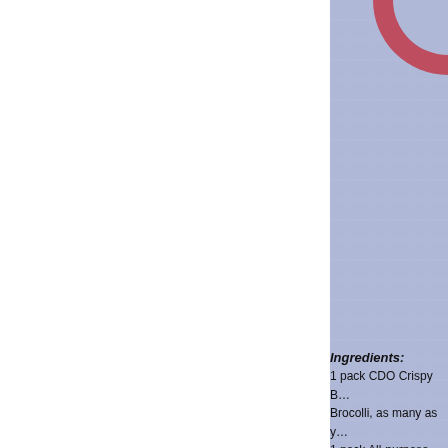[Figure (photo): Decorative background image showing a blue/lavender linen texture with a partial red circular shape visible at the top right corner. The image occupies the right portion of the page.]
Ingredients:
1 pack CDO Crispy B...
Brocolli, as many as y...
1 pack All-purpose cre...
1 small can of mushro...
2 tbsp butter
1/2 tbsp cooking oil